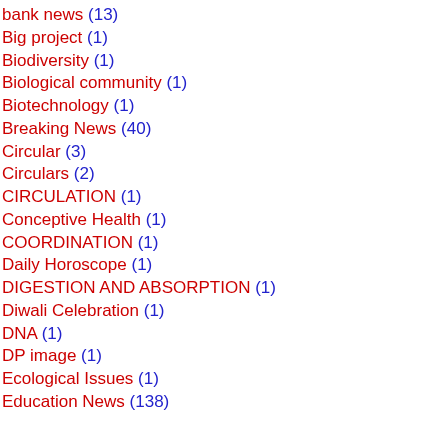bank news (13)
Big project (1)
Biodiversity (1)
Biological community (1)
Biotechnology (1)
Breaking News (40)
Circular (3)
Circulars (2)
CIRCULATION (1)
Conceptive Health (1)
COORDINATION (1)
Daily Horoscope (1)
DIGESTION AND ABSORPTION (1)
Diwali Celebration (1)
DNA (1)
DP image (1)
Ecological Issues (1)
Education News (138)